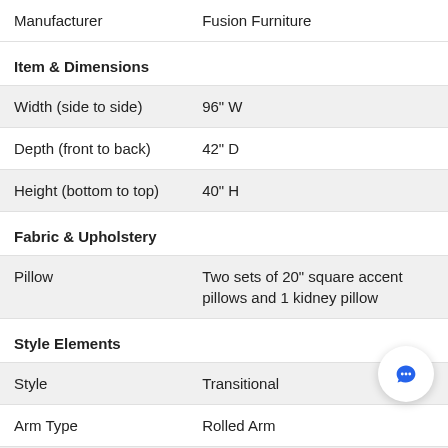| Attribute | Value |
| --- | --- |
| Manufacturer | Fusion Furniture |
| Item & Dimensions |  |
| Width (side to side) | 96" W |
| Depth (front to back) | 42" D |
| Height (bottom to top) | 40" H |
| Fabric & Upholstery |  |
| Pillow | Two sets of 20" square accent pillows and 1 kidney pillow |
| Style Elements |  |
| Style | Transitional |
| Arm Type | Rolled Arm |
| Arm | Rolled arms with nailhead trim |
| Back Type | Loose Pillow |